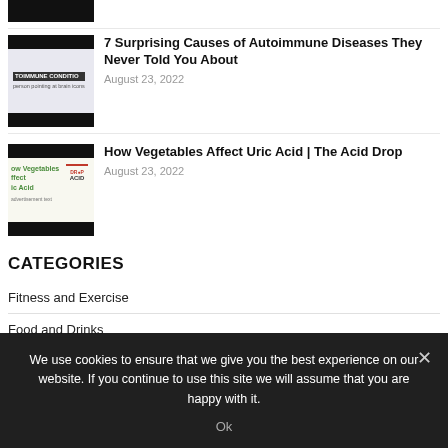[Figure (screenshot): Partial thumbnail of first article item - dark bar visible at top]
[Figure (screenshot): Thumbnail for autoimmune diseases article with brain/body illustrations and text 'AUTOIMMUNE CONDITION']
7 Surprising Causes of Autoimmune Diseases They Never Told You About
August 23, 2022
[Figure (screenshot): Thumbnail for vegetables/uric acid article showing green text 'How Vegetables Affect Uric Acid' and book cover 'DROP ACID']
How Vegetables Affect Uric Acid | The Acid Drop
August 23, 2022
CATEGORIES
Fitness and Exercise
Food and Drinks
We use cookies to ensure that we give you the best experience on our website. If you continue to use this site we will assume that you are happy with it.
Ok